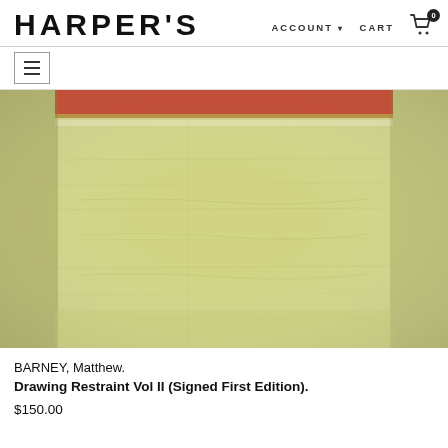HARPER'S
ACCOUNT ▾   CART 🛒 0
[Figure (photo): Close-up product image showing a light yellow-green painted or textured surface, with what appears to be the edge of a red-bound book or cover at the top.]
BARNEY, Matthew.
Drawing Restraint Vol II (Signed First Edition).
$150.00